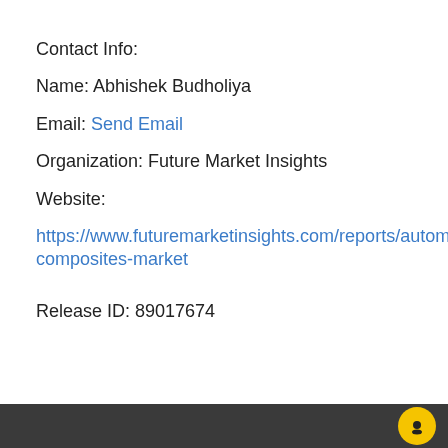Contact Info:
Name: Abhishek Budholiya
Email: Send Email
Organization: Future Market Insights
Website:
https://www.futuremarketinsights.com/reports/autom composites-market
Release ID: 89017674